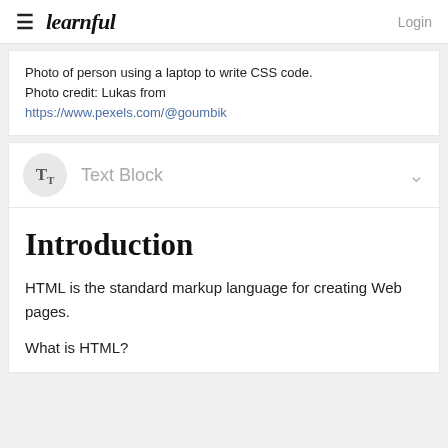learnful   Login
Photo of person using a laptop to write CSS code. Photo credit: Lukas from https://www.pexels.com/@goumbik
Text Block
Introduction
HTML is the standard markup language for creating Web pages.
What is HTML?